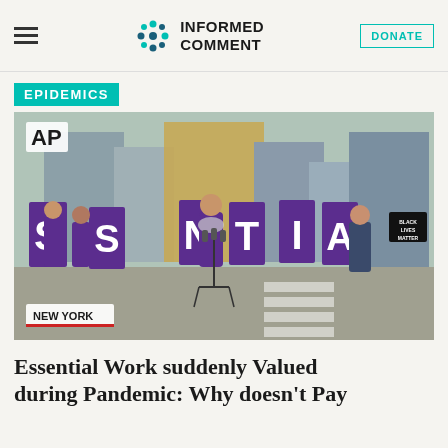Informed Comment
EPIDEMICS
[Figure (photo): AP video still labeled 'NEW YORK': A street protest scene with people in purple shirts holding large purple letters spelling 'ESSENTIAL'. A speaker stands at a microphone podium. Buildings visible in background. Black Lives Matter sign visible on right.]
Essential Work suddenly Valued during Pandemic: Why doesn't Pay